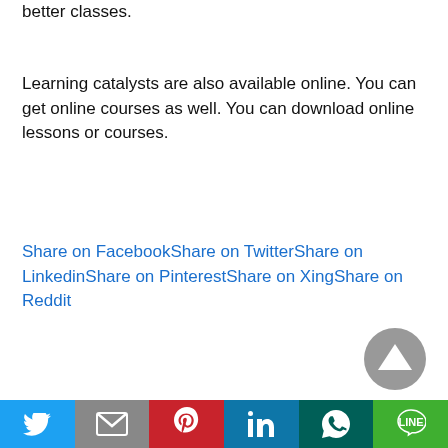better classes.
Learning catalysts are also available online. You can get online courses as well. You can download online lessons or courses.
Share on FacebookShare on TwitterShare on LinkedinShare on PinterestShare on XingShare on Reddit
[Figure (other): Social media share buttons bar at the bottom: Twitter (blue), Gmail (grey), Pinterest (red), LinkedIn (blue), WhatsApp (dark teal), Line (green)]